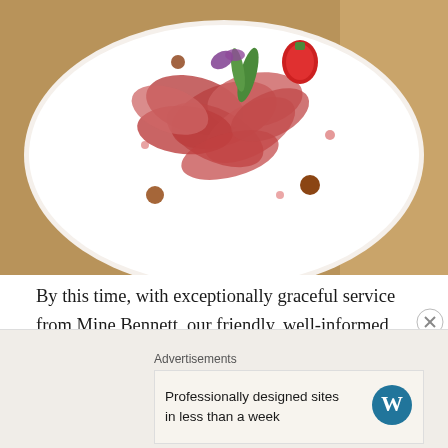[Figure (photo): A white plate with thinly sliced cured meat (charcuterie/jamón) arranged in a circular pattern, garnished with green peppers, red strawberry or pepper, and small round items, photographed from above on a rustic surface.]
By this time, with exceptionally graceful service from Mine Bennett, our friendly, well-informed waitress, a warm, convivial atmosphere descended upon us with a sense of being true bon vivants, a sensation further enhanced by Alain's selection of an elegant, claret-colored, berry-tasting 2011 Dominio de Tares Baltos from Bierzo, northwest Spain.
Advertisements
Professionally designed sites in less than a week